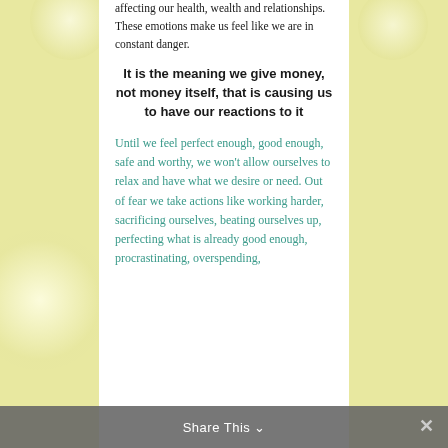affecting our health, wealth and relationships. These emotions make us feel like we are in constant danger.
It is the meaning we give money, not money itself, that is causing us to have our reactions to it
Until we feel perfect enough, good enough, safe and worthy, we won't allow ourselves to relax and have what we desire or need. Out of fear we take actions like working harder, sacrificing ourselves, beating ourselves up, perfecting what is already good enough, procrastinating, overspending,
Share This